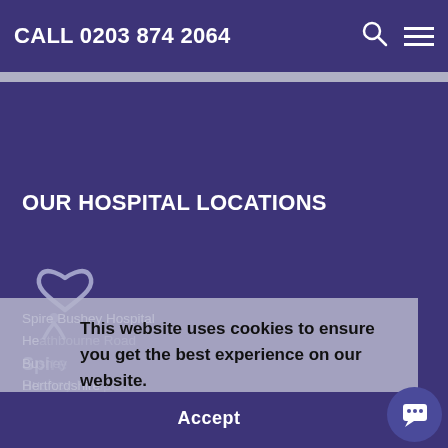CALL 0203 874 2064
OUR HOSPITAL LOCATIONS
[Figure (logo): Spire Healthcare logo — stylised heart/person figure in faded lavender]
Spire
Bushey Hospital
This website uses cookies to ensure you get the best experience on our website.
Learn more
Accept
Spire Bushey Hospital
Heathbourne Road
Bushey
Hertfordshire
WD23 1RD